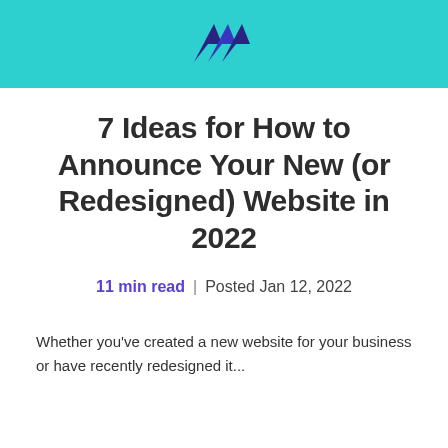[Figure (logo): Website/blog logo icon in dark blue/purple on teal background banner at top of page]
7 Ideas for How to Announce Your New (or Redesigned) Website in 2022
11 min read  |  Posted Jan 12, 2022
Whether you've created a new website for your business or have recently redesigned it...